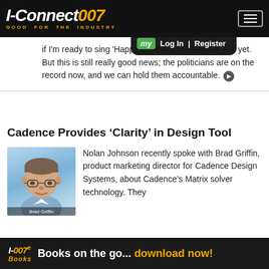I-Connect007 — GOOD FOR THE INDUSTRY
if I'm ready to sing 'Happy Days Are Here Again' just yet. But this is still really good news; the politicians are on the record now, and we can hold them accountable.
Cadence Provides ‘Clarity’ in Design Tool
[Figure (photo): Headshot photo of Brad Griffin, product marketing director for Cadence Design Systems]
Nolan Johnson recently spoke with Brad Griffin, product marketing director for Cadence Design Systems, about Cadence’s Matrix solver technology. They
I-007e Books   Books on the go... download now!